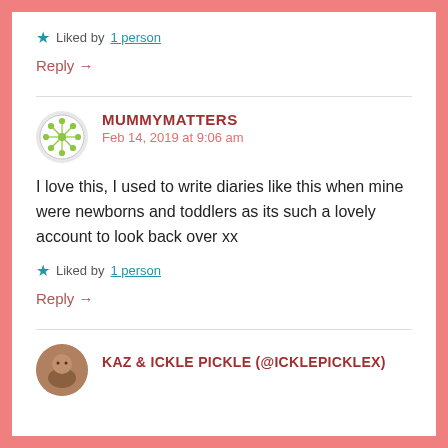Liked by 1 person
Reply →
MUMMYMATTERS
Feb 14, 2019 at 9:06 am
I love this, I used to write diaries like this when mine were newborns and toddlers as its such a lovely account to look back over xx
Liked by 1 person
Reply →
KAZ & ICKLE PICKLE (@ICKLEPICKLEX)